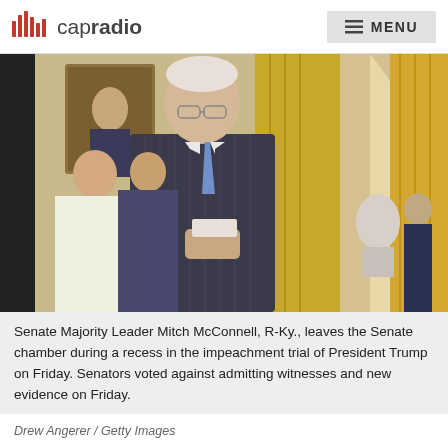capradio  MENU
[Figure (photo): Senate Majority Leader Mitch McConnell walking in a hallway of the Senate, wearing a dark pinstriped suit and blue tie, holding papers, with colleagues walking behind him and a white marble bust and uniformed officer visible in the background.]
Senate Majority Leader Mitch McConnell, R-Ky., leaves the Senate chamber during a recess in the impeachment trial of President Trump on Friday. Senators voted against admitting witnesses and new evidence on Friday.
Drew Angerer / Getty Images